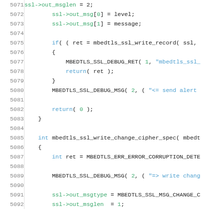[Figure (screenshot): Source code listing in C showing lines 5071-5092 of an SSL/TLS library (mbedtls). Lines include ssl->out_msglen, ssl->out_msg assignments, an if block calling mbedtls_ssl_write_record, MBEDTLS_SSL_DEBUG_RET, return(ret), MBEDTLS_SSL_DEBUG_MSG, return(0), closing brace, blank lines, and start of mbedtls_ssl_write_change_cipher_spec function with int ret = MBEDTLS_ERR_ERROR_CORRUPTION_DETE... and MBEDTLS_SSL_DEBUG_MSG, ssl->out_msgtype, ssl->out_msglen assignments.]